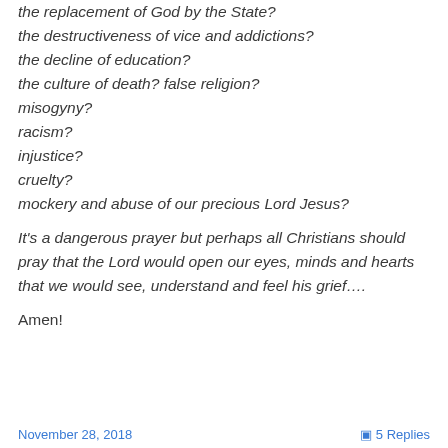the replacement of God by the State?
the destructiveness of vice and addictions?
the decline of education?
the culture of death? false religion?
misogyny?
racism?
injustice?
cruelty?
mockery and abuse of our precious Lord Jesus?
It's a dangerous prayer but perhaps all Christians should pray that the Lord would open our eyes, minds and hearts that we would see, understand and feel his grief….
Amen!
November 28, 2018   5 Replies